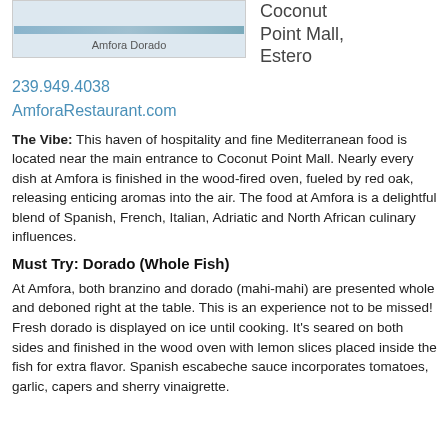[Figure (photo): Photo of Amfora Dorado dish]
Amfora Dorado
Coconut Point Mall, Estero
239.949.4038
AmforaRestaurant.com
The Vibe: This haven of hospitality and fine Mediterranean food is located near the main entrance to Coconut Point Mall. Nearly every dish at Amfora is finished in the wood-fired oven, fueled by red oak, releasing enticing aromas into the air. The food at Amfora is a delightful blend of Spanish, French, Italian, Adriatic and North African culinary influences.
Must Try: Dorado (Whole Fish)
At Amfora, both branzino and dorado (mahi-mahi) are presented whole and deboned right at the table. This is an experience not to be missed! Fresh dorado is displayed on ice until cooking. It’s seared on both sides and finished in the wood oven with lemon slices placed inside the fish for extra flavor. Spanish escabeche sauce incorporates tomatoes, garlic, capers and sherry vinaigrette.